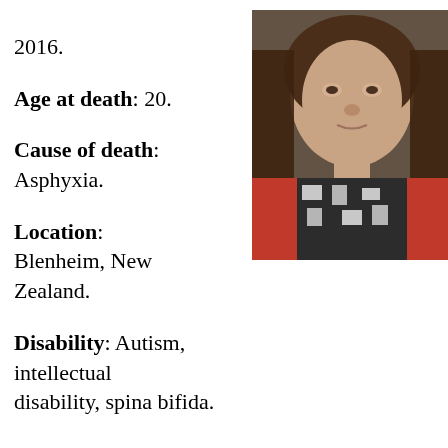2016.
Age at death: 20.
Cause of death: Asphyxia.
Location: Blenheim, New Zealand.
Disability: Autism, intellectual disability, spina bifida.
[Figure (photo): Portrait photo of a young woman with brown hair, wearing a red long-sleeve shirt under a black and white patterned vest/top, looking at the camera.]
Details:
Weeks before the murder, Ruby Knox’s mother self-published a book about caring for her disabled daughter. In it, she said that she had “thoughts of ‘blowing up the hospital’ or of